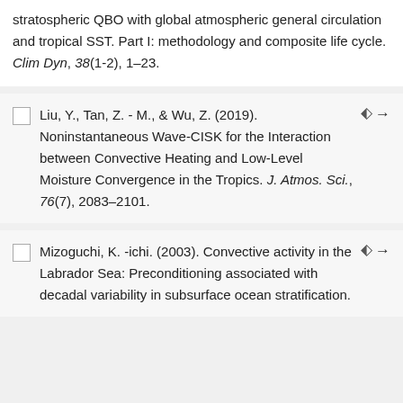stratospheric QBO with global atmospheric general circulation and tropical SST. Part I: methodology and composite life cycle. Clim Dyn, 38(1-2), 1–23.
Liu, Y., Tan, Z. - M., & Wu, Z. (2019). Noninstantaneous Wave-CISK for the Interaction between Convective Heating and Low-Level Moisture Convergence in the Tropics. J. Atmos. Sci., 76(7), 2083–2101.
Mizoguchi, K. -ichi. (2003). Convective activity in the Labrador Sea: Preconditioning associated with decadal variability in subsurface ocean stratification.